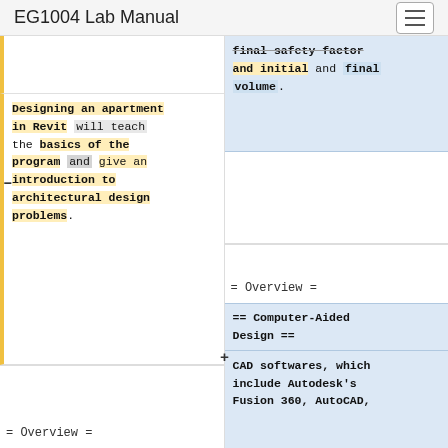EG1004 Lab Manual
final safety factor and initial and final volume.
Designing an apartment in Revit will teach the basics of the program and give an introduction to architectural design problems.
= Overview =
= Overview =
== Computer-Aided Design ==
CAD softwares, which include Autodesk's Fusion 360, AutoCAD,